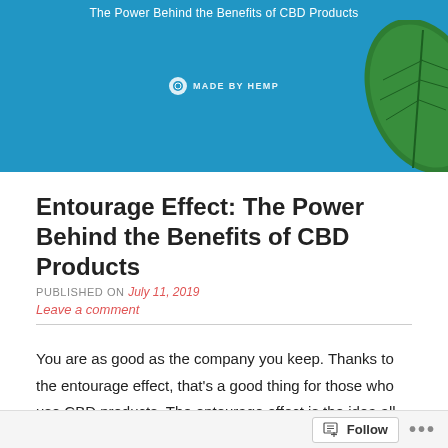[Figure (illustration): Blue banner header image with text 'The Power Behind the Benefits of CBD Products', a 'Made by Hemp' logo in the center, and a green tropical leaf on the right side.]
Entourage Effect: The Power Behind the Benefits of CBD Products
PUBLISHED ON July 11, 2019
Leave a comment
You are as good as the company you keep. Thanks to the entourage effect, that's a good thing for those who use CBD products. The entourage effect is the idea all compounds found in cannabis are best when taken together than when taken separately. This can be likened to eating an orange when you